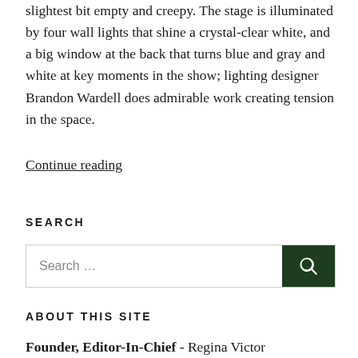slightest bit empty and creepy. The stage is illuminated by four wall lights that shine a crystal-clear white, and a big window at the back that turns blue and gray and white at key moments in the show; lighting designer Brandon Wardell does admirable work creating tension in the space.
Continue reading
SEARCH
Search …
ABOUT THIS SITE
Founder, Editor-In-Chief - Regina Victor